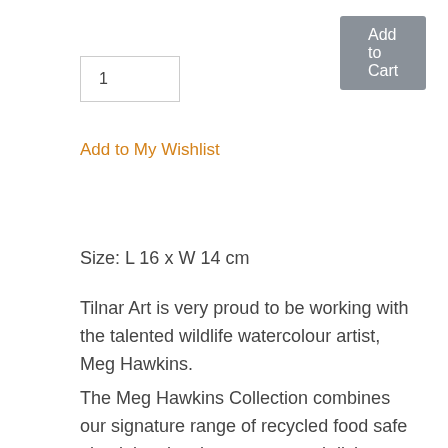[Figure (screenshot): Gray 'Add to Cart' button]
1
Add to My Wishlist
Size: L 16 x W 14 cm
Tilnar Art is very proud to be working with the talented wildlife watercolour artist, Meg Hawkins.
The Meg Hawkins Collection combines our signature range of recycled food safe aluminium bowls, coasters and dishes with Meg Hawkins stunning wildlife paintings. They are Fair Trade